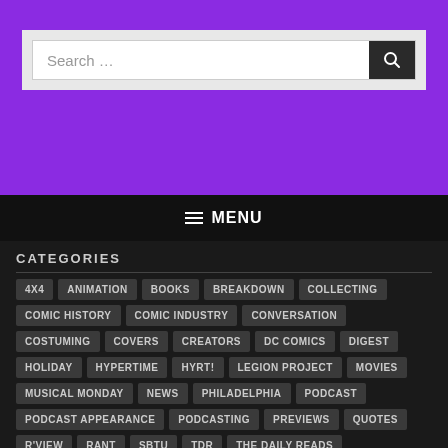[Figure (screenshot): Purple header section with search bar]
≡ MENU
CATEGORIES
4X4
ANIMATION
BOOKS
BREAKDOWN
COLLECTING
COMIC HISTORY
COMIC INDUSTRY
CONVERSATION
COSTUMING
COVERS
CREATORS
DC COMICS
DIGEST
HOLIDAY
HYPERTIME
HYRT!
LEGION PROJECT
MOVIES
MUSICAL MONDAY
NEWS
PHILADELPHIA
PODCAST
PODCAST APPEARANCE
PODCASTING
PREVIEWS
QUOTES
R'VIEW
RANT
SBTU
TDR
THE DAILY READS
THE DAILY RIOS
THE DAILY SMALLVILLE
THE ROAD
THROWBACK THURSDAY
TOWER
TV
UNCATEGORIZED